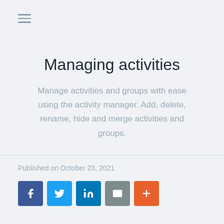[Figure (other): Hamburger menu icon with three horizontal lines]
Managing activities
Manage activities and groups with ease using the activity manager. Add, delete, rename, hide and merge activities and groups.
Published on October 23, 2021
[Figure (other): Social sharing buttons: Facebook, Twitter, LinkedIn, Email, More]